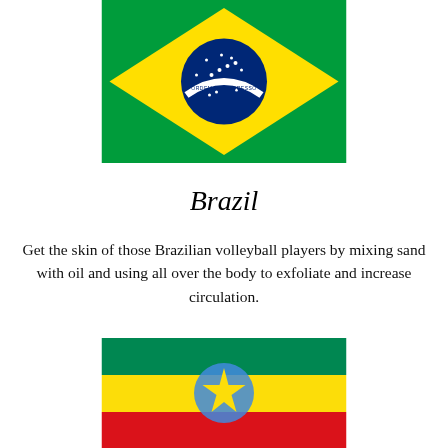[Figure (illustration): Flag of Brazil — green background with yellow diamond, blue circle with white band reading ORDEM E PROGRESSO and white stars]
Brazil
Get the skin of those Brazilian volleyball players by mixing sand with oil and using all over the body to exfoliate and increase circulation.
[Figure (illustration): Flag of Ethiopia — horizontal green, yellow, red stripes with blue circle and yellow star in center (partially visible, cropped at bottom)]